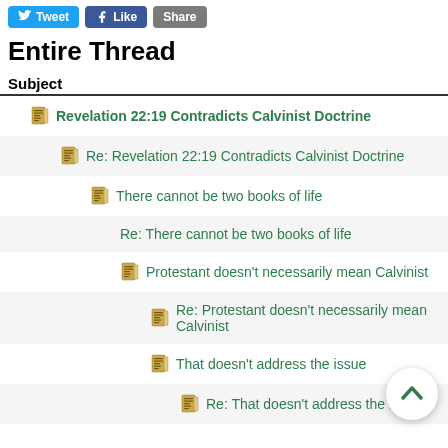Tweet | Like | Share
Entire Thread
Subject
Revelation 22:19 Contradicts Calvinist Doctrine
Re: Revelation 22:19 Contradicts Calvinist Doctrine
There cannot be two books of life
Re: There cannot be two books of life
Protestant doesn't necessarily mean Calvinist
Re: Protestant doesn't necessarily mean Calvinist
That doesn't address the issue
Re: That doesn't address the issue